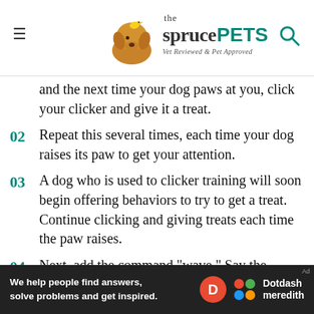the sprucePETS — Vet Reviewed & Pet Approved
and the next time your dog paws at you, click your clicker and give it a treat.
02 Repeat this several times, each time your dog raises its paw to get your attention.
03 A dog who is used to clicker training will soon begin offering behaviors to try to get a treat. Continue clicking and giving treats each time the paw raises.
04 Next, add the command "wave." Say the command and wait. Each time your dog raises its paw, click and treat. Your dog will soon be offering the behavior more quickly
Ad — We help people find answers, solve problems and get inspired. Dotdash meredith